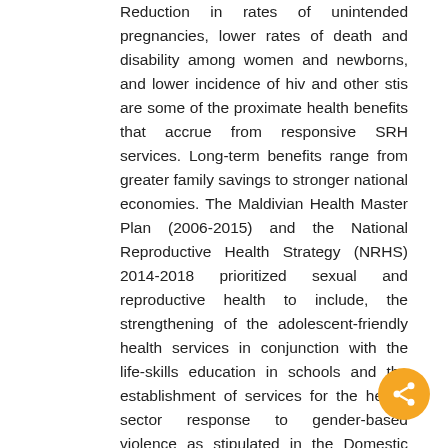Reduction in rates of unintended pregnancies, lower rates of death and disability among women and newborns, and lower incidence of hiv and other stis are some of the proximate health benefits that accrue from responsive SRH services. Long-term benefits range from greater family savings to stronger national economies. The Maldivian Health Master Plan (2006-2015) and the National Reproductive Health Strategy (NRHS) 2014-2018 prioritized sexual and reproductive health to include, the strengthening of the adolescent-friendly health services in conjunction with the life-skills education in schools and the establishment of services for the health sector response to gender-based violence as stipulated in the Domestic Violence Act (2012).
This study purposed to develop policy options for the Maldives Ministry of Health to determine optimal mix of interventions in response to youth SRH and GBV in the Maldives that delivers the most cost-effective health benefit. The results will inform the implementation of the National Reproductive Health Strategy (NRHS) 2014-2018 by providing costs of different levels of SRH